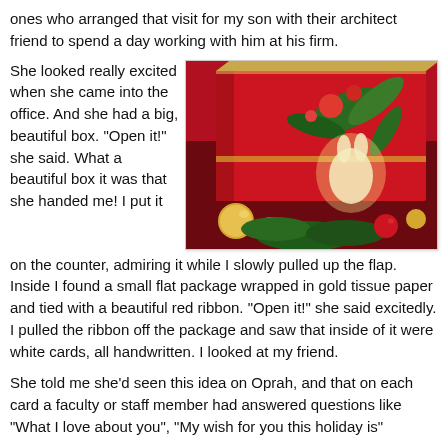ones who arranged that visit for my son with their architect friend to spend a day working with him at his firm.
She looked really excited when she came into the office. And she had a big, beautiful box. "Open it!" she said. What a beautiful box it was that she handed me! I put it on the counter, admiring it while I slowly pulled up the flap. Inside I found a small flat package wrapped in gold tissue paper and tied with a beautiful red ribbon. "Open it!" she said excitedly. I pulled the ribbon off the package and saw that inside of it were white cards, all handwritten. I looked at my friend.
[Figure (photo): Close-up photo of a decorative red gift box with floral patterns and gold accents, surrounded by Christmas ornaments and greenery.]
She told me she'd seen this idea on Oprah, and that on each card a faculty or staff member had answered questions like "What I love about you", "My wish for you this holiday is".